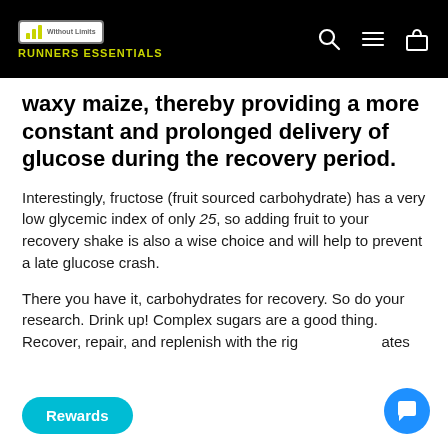Without Limits RUNNERS ESSENTIALS
waxy maize, thereby providing a more constant and prolonged delivery of glucose during the recovery period.
Interestingly, fructose (fruit sourced carbohydrate) has a very low glycemic index of only 25, so adding fruit to your recovery shake is also a wise choice and will help to prevent a late glucose crash.
There you have it, carbohydrates for recovery. So do your research. Drink up! Complex sugars are a good thing. Recover, repair, and replenish with the rig…ates